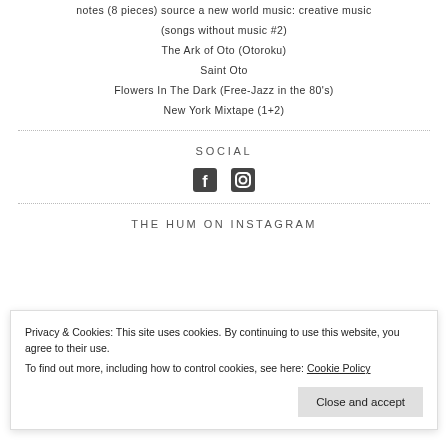notes (8 pieces) source a new world music: creative music
(songs without music #2)
The Ark of Oto (Otoroku)
Saint Oto
Flowers In The Dark (Free-Jazz in the 80's)
New York Mixtape (1+2)
SOCIAL
[Figure (infographic): Facebook and Instagram social media icons]
THE HUM ON INSTAGRAM
Privacy & Cookies: This site uses cookies. By continuing to use this website, you agree to their use.
To find out more, including how to control cookies, see here: Cookie Policy
Close and accept